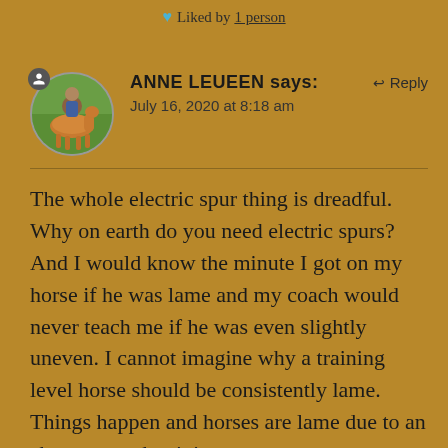Liked by 1 person
ANNE LEUEEN says:   Reply
July 16, 2020 at 8:18 am
The whole electric spur thing is dreadful. Why on earth do you need electric spurs? And I would know the minute I got on my horse if he was lame and my coach would never teach me if he was even slightly uneven. I cannot imagine why a training level horse should be consistently lame. Things happen and horses are lame due to an abscess or other injury